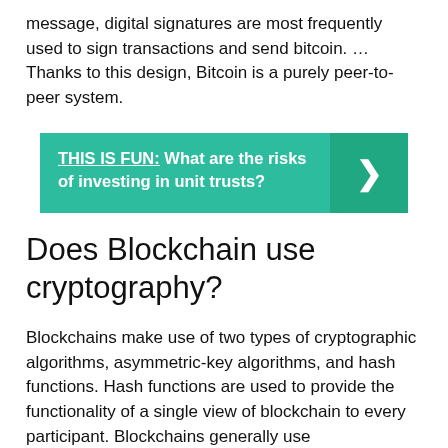message, digital signatures are most frequently used to sign transactions and send bitcoin. … Thanks to this design, Bitcoin is a purely peer-to-peer system.
THIS IS FUN: What are the risks of investing in unit trusts?
Does Blockchain use cryptography?
Blockchains make use of two types of cryptographic algorithms, asymmetric-key algorithms, and hash functions. Hash functions are used to provide the functionality of a single view of blockchain to every participant. Blockchains generally use